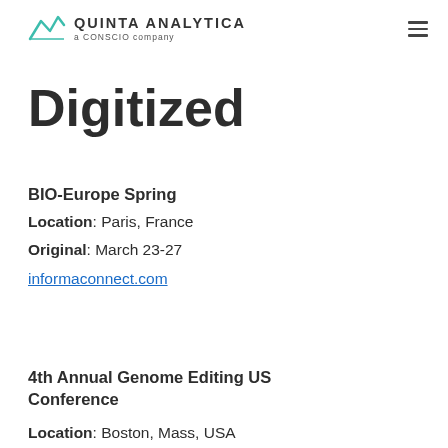QUINTA ANALYTICA a CONSCIO company
Digitized
BIO-Europe Spring
Location: Paris, France
Original: March 23-27
informaconnect.com
4th Annual Genome Editing US Conference
Location: Boston, Mass, USA